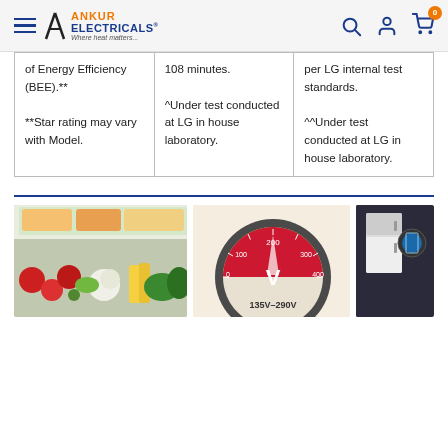Ankur Electricals
| of Energy Efficiency (BEE).**

**Star rating may vary with Model. | 108 minutes.

^Under test conducted at LG in house laboratory. | per LG internal test standards.

^^Under test conducted at LG in house laboratory. |
[Figure (photo): Refrigerator interior with fresh vegetables and food items]
[Figure (infographic): Circular gauge/meter showing 135V-290V voltage range with red and green sections]
[Figure (photo): Small image of refrigerator product]